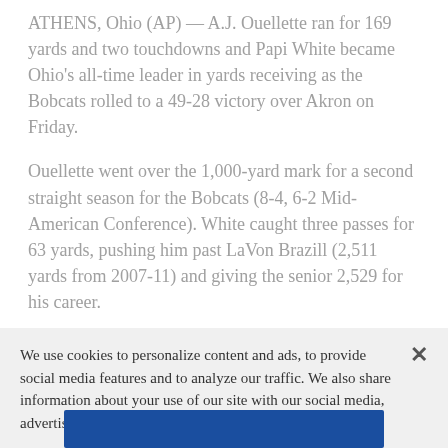ATHENS, Ohio (AP) — A.J. Ouellette ran for 169 yards and two touchdowns and Papi White became Ohio's all-time leader in yards receiving as the Bobcats rolled to a 49-28 victory over Akron on Friday.
Ouellette went over the 1,000-yard mark for a second straight season for the Bobcats (8-4, 6-2 Mid-American Conference). White caught three passes for 63 yards, pushing him past LaVon Brazill (2,511 yards from 2007-11) and giving the senior 2,529 for his career.
Ouellette staked Ohio to a 7-0 first-quarter lead on a 6-yard run. Quarterback Nathan Rourke scored on a 1-
We use cookies to personalize content and ads, to provide social media features and to analyze our traffic. We also share information about your use of our site with our social media, advertising and analytics partners.  Privacy Policy